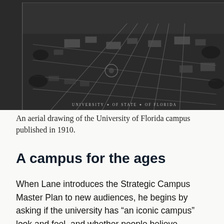[Figure (photo): Black and white aerial drawing of the University of Florida campus, published in 1910. Shows a bird's-eye view of a planned campus with grid pathways, trees, and buildings. Text at bottom reads 'University of State of Florida'.]
An aerial drawing of the University of Florida campus published in 1910.
A campus for the ages
When Lane introduces the Strategic Campus Master Plan to new audiences, he begins by asking if the university has “an iconic campus” look and feel, and whether people believe Century Tower or Ben Hill Griffin Stadium may contribute to that.